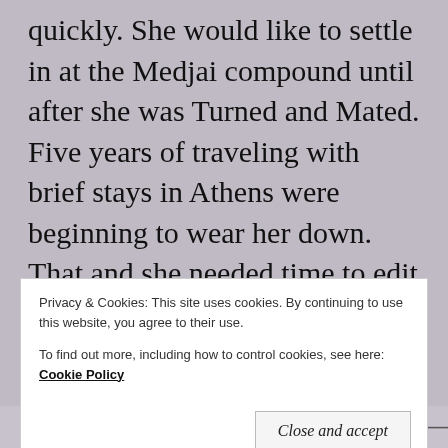quickly. She would like to settle in at the Medjai compound until after she was Turned and Mated. Five years of traveling with brief stays in Athens were beginning to wear her down. That and she needed time to edit her scrolls while the memories were still fresh. Dilios was always harping about getting the little details. Sometimes she thought it was less about preserving history and more about entertaining the
Privacy & Cookies: This site uses cookies. By continuing to use this website, you agree to their use.
To find out more, including how to control cookies, see here: Cookie Policy
Close and accept
of the long years passed and more about the here